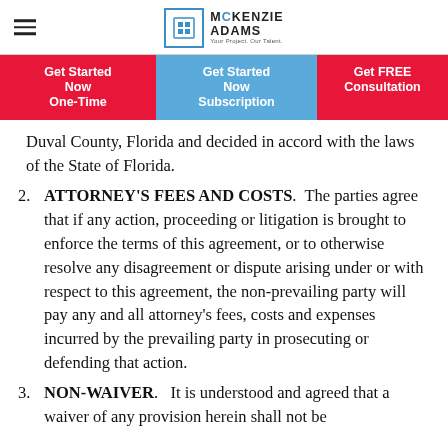McKenzie Adams
Get Started Now One-Time | Get Started Now Subscription | Get FREE Consultation
Duval County, Florida and decided in accord with the laws of the State of Florida.
2. ATTORNEY'S FEES AND COSTS.  The parties agree that if any action, proceeding or litigation is brought to enforce the terms of this agreement, or to otherwise resolve any disagreement or dispute arising under or with respect to this agreement, the non-prevailing party will pay any and all attorney's fees, costs and expenses incurred by the prevailing party in prosecuting or defending that action.
3. NON-WAIVER.   It is understood and agreed that a waiver of any provision herein shall not be deemed a waiver of any other provision hereunder.